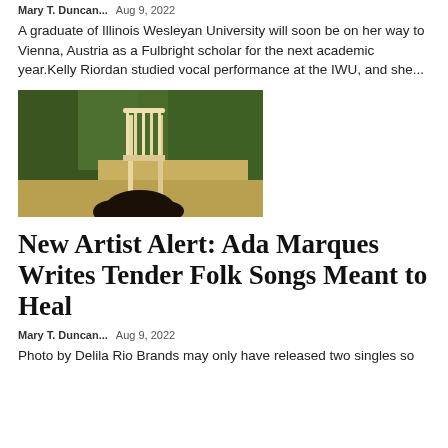Mary T. Duncan...   Aug 9, 2022
A graduate of Illinois Wesleyan University will soon be on her way to Vienna, Austria as a Fulbright scholar for the next academic year.Kelly Riordan studied vocal performance at the IWU, and she...
[Figure (photo): A wooden chair outdoors with green foliage in the background and a person's dark hair visible at the bottom of the frame.]
New Artist Alert: Ada Marques Writes Tender Folk Songs Meant to Heal
Mary T. Duncan...   Aug 9, 2022
Photo by Delila Rio Brands may only have released two singles so